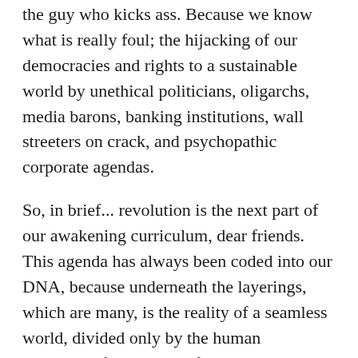the guy who kicks ass. Because we know what is really foul; the hijacking of our democracies and rights to a sustainable world by unethical politicians, oligarchs, media barons, banking institutions, wall streeters on crack, and psychopathic corporate agendas.
So, in brief... revolution is the next part of our awakening curriculum, dear friends. This agenda has always been coded into our DNA, because underneath the layerings, which are many, is the reality of a seamless world, divided only by the human propensity for delusion, fear and greed. The veils can part, from such an afflicted history, when we allow ourselves to touch into the truth the